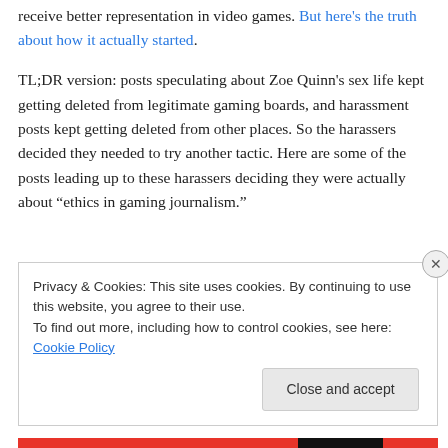receive better representation in video games. But here’s the truth about how it actually started.
TL;DR version: posts speculating about Zoe Quinn’s sex life kept getting deleted from legitimate gaming boards, and harassment posts kept getting deleted from other places. So the harassers decided they needed to try another tactic. Here are some of the posts leading up to these harassers deciding they were actually about “ethics in gaming journalism.”
Privacy & Cookies: This site uses cookies. By continuing to use this website, you agree to their use. To find out more, including how to control cookies, see here: Cookie Policy
Close and accept